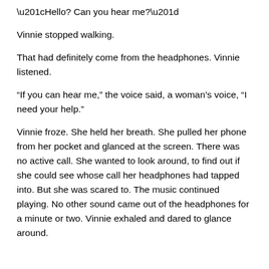“Hello?  Can you hear me?”
Vinnie stopped walking.
That had definitely come from the headphones.  Vinnie listened.
“If you can hear me,” the voice said, a woman’s voice, “I need your help.”
Vinnie froze.  She held her breath.  She pulled her phone from her pocket and glanced at the screen.  There was no active call.  She wanted to look around, to find out if she could see whose call her headphones had tapped into.  But she was scared to.  The music continued playing.  No other sound came out of the headphones for a minute or two.  Vinnie exhaled and dared to glance around.